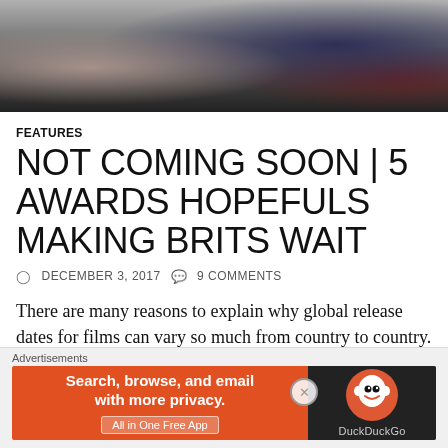[Figure (photo): Partial overhead photo of people in a crowd, cropped at top of page]
FEATURES
NOT COMING SOON | 5 AWARDS HOPEFULS MAKING BRITS WAIT
DECEMBER 3, 2017   9 COMMENTS
There are many reasons to explain why global release dates for films can vary so much from country to country. Some films need dubbing, others need to ferry their cast around for promotion, whilst a handful see the distributor test the wate
[Figure (infographic): DuckDuckGo advertisement banner: orange background with text 'Search, browse, and email with more privacy. All in One Free App' and DuckDuckGo logo on dark right panel]